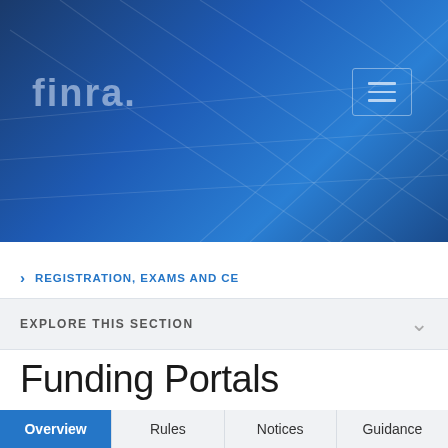[Figure (screenshot): FINRA website header banner with blue gradient background and geometric grid line overlay. FINRA logo in top-left, hamburger menu icon button in top-right.]
REGISTRATION, EXAMS AND CE
EXPLORE THIS SECTION
Funding Portals
Overview | Rules | Notices | Guidance